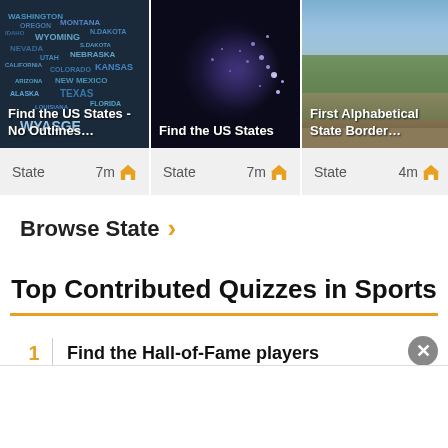[Figure (screenshot): Card 1: US States word cloud map - Find the US States No Outlines...]
[Figure (screenshot): Card 2: US satellite night lights map - Find the US States]
[Figure (screenshot): Card 3: Mountain landscape photo - First Alphabetical State Border...]
State  7m  [icon]
State  7m  [icon]
State  4m  [icon]
Browse State >
Top Contributed Quizzes in Sports
1  Find the Hall-of-Fame players
2  NBA Logic Puzzle 2.0